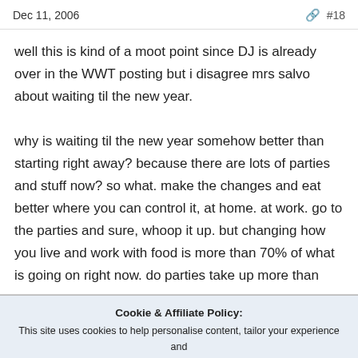Dec 11, 2006   #18
well this is kind of a moot point since DJ is already over in the WWT posting but i disagree mrs salvo about waiting til the new year.

why is waiting til the new year somehow better than starting right away? because there are lots of parties and stuff now? so what. make the changes and eat better where you can control it, at home. at work. go to the parties and sure, whoop it up. but changing how you live and work with food is more than 70% of what is going on right now. do parties take up more than
Cookie & Affiliate Policy:
This site uses cookies to help personalise content, tailor your experience and to keep you logged in if you have registered.
We may generate affiliate revenue through the links/ads on this site.
We NEVER accept paid reviews and take great pride in providing honest opinions and objective information on products & services.
By continuing to use this site, you are consenting to our use of cookie policy.